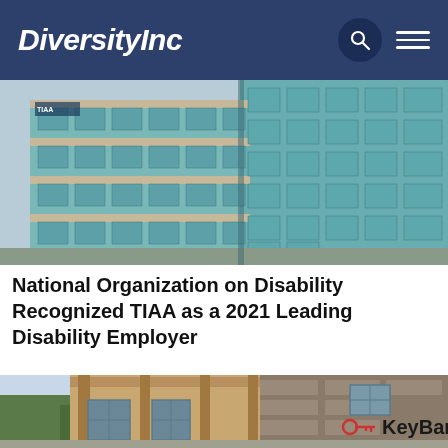DiversityInc
[Figure (photo): Exterior photo of a modern office building with blue-green glass windows and stone facade — TIAA building]
National Organization on Disability Recognized TIAA as a 2021 Leading Disability Employer
[Figure (photo): Exterior photo of a KeyBank branch building with stone facade and wooden pergola structure, KeyBank sign with red key logo visible]